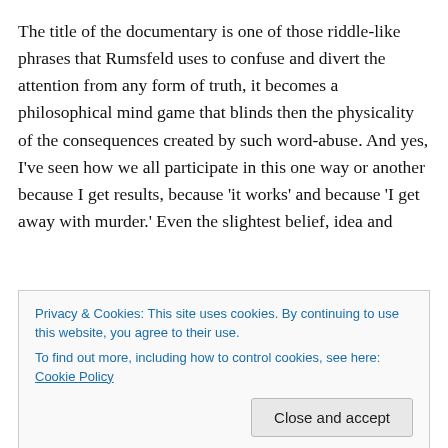The title of the documentary is one of those riddle-like phrases that Rumsfeld uses to confuse and divert the attention from any form of truth, it becomes a philosophical mind game that blinds then the physicality of the consequences created by such word-abuse. And yes, I've seen how we all participate in this one way or another because I get results, because 'it works' and because 'I get away with murder.' Even the slightest belief, idea and
Privacy & Cookies: This site uses cookies. By continuing to use this website, you agree to their use. To find out more, including how to control cookies, see here: Cookie Policy
realizing this that we now also have the great and